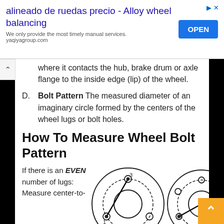[Figure (screenshot): Ad banner: 'alineado de ruedas precio - Alloy wheel balancing' with OPEN button and small arrow icon]
where it contacts the hub, brake drum or axle flange to the inside edge (lip) of the wheel.
D. Bolt Pattern The measured diameter of an imaginary circle formed by the centers of the wheel lugs or bolt holes.
How To Measure Wheel Bolt Pattern
If there is an EVEN number of lugs: Measure center-to-
[Figure (engineering-diagram): Two wheel bolt pattern diagrams. Left diagram shows a wheel with 3 lugs and a measuring line from bolt 3 to bolt 1 across the center. Right diagram shows a wheel with more lugs and a similar center-to-center measurement line.]